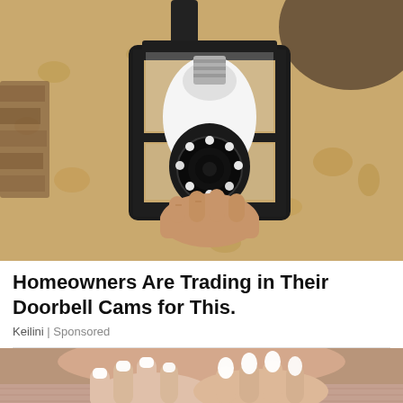[Figure (photo): A security camera shaped like a light bulb installed inside a dark lantern-style outdoor wall sconce, mounted on a textured stucco wall. A hand is holding or installing the bulb camera.]
Homeowners Are Trading in Their Doorbell Cams for This.
Keilini | Sponsored
[Figure (photo): Close-up of a woman's hands with white manicured nails resting on her stomach, wearing a light brown ribbed top.]